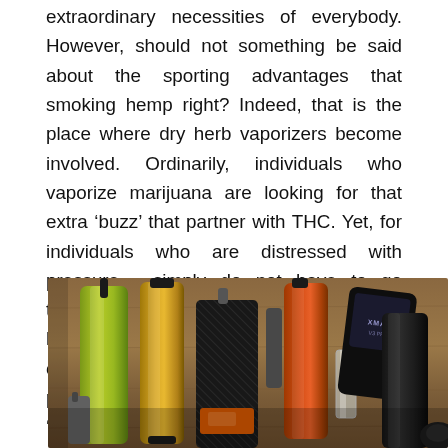extraordinary necessities of everybody. However, should not something be said about the sporting advantages that smoking hemp right? Indeed, that is the place where dry herb vaporizers become involved. Ordinarily, individuals who vaporize marijuana are looking for that extra ‘buzz’ that partner with THC. Yet, for individuals who are distressed with pressure , simply do not have to go through a psychoactive high, smoking dry herb vaporizers might be an exceptional option because of its loosening up properties which do not cause an ordinary ‘high’ coming from delta-9 or delta-8 THC. Many individuals do not know about the gainful impacts of smoking dry herb vaporizers.
[Figure (photo): A collection of various dry herb vaporizer devices arranged on a wooden table. Devices include cylindrical vaporizers in yellow-green, gold, orange/red, black wrapped, and dark gray colors, along with a flat black box-style vaporizer with a screen, and a small glass tube accessory.]